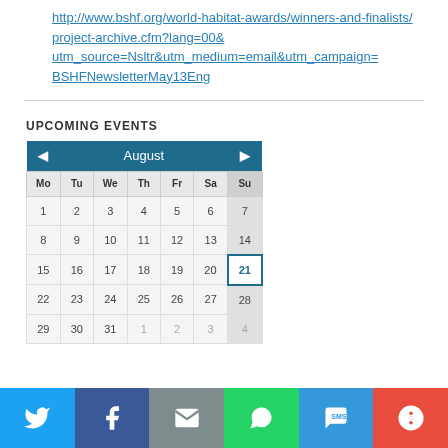http://www.bshf.org/world-habitat-awards/winners-and-finalists/project-archive.cfm?lang=00&utm_source=Nsltr&utm_medium=email&utm_campaign=BSHFNewsletterMay13Eng
UPCOMING EVENTS
[Figure (other): August calendar widget showing dates 1-31 with navigation arrows, highlighting date 21 with a blue border. Days of the week: Mo Tu We Th Fr Sa Su. Last row shows 29 30 31 1 2 3 4.]
[Figure (infographic): Social sharing bar with icons: Twitter (blue), Facebook (dark blue), Email (grey), WhatsApp (green), SMS (blue), More (red)]